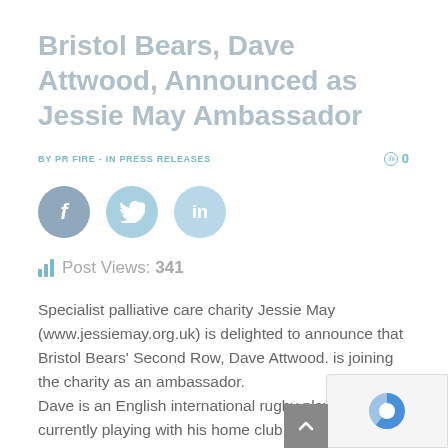Bristol Bears, Dave Attwood, Announced as Jessie May Ambassador
BY PR FIRE - IN PRESS RELEASES   0
[Figure (infographic): Social share buttons: Facebook (dark blue-grey circle with f), Twitter (light blue circle with bird icon), LinkedIn (light blue circle with in)]
Post Views: 341
Specialist palliative care charity Jessie May (www.jessiemay.org.uk) is delighted to announce that Bristol Bears' Second Row, Dave Attwood. is joining the charity as an ambassador.
Dave is an English international rugby player, currently playing with his home club Bristol...